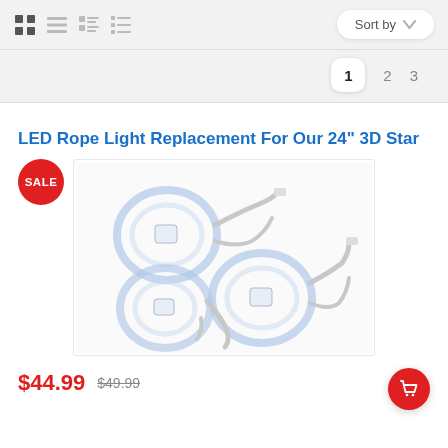[Figure (screenshot): E-commerce product listing page toolbar with grid/list view icons and Sort by dropdown]
[Figure (screenshot): Pagination controls showing pages 1, 2, 3 with page 1 active]
LED Rope Light Replacement For Our 24" 3D Star
[Figure (photo): Product photo of LED rope lights coiled in circles with plugs, shown as three coils. Red SALE badge in upper left corner.]
$44.99  $49.99